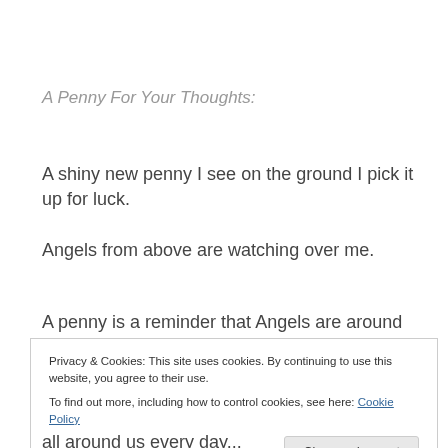A Penny For Your Thoughts:
A shiny new penny I see on the ground I pick it up for luck.
Angels from above are watching over me.
A penny is a reminder that Angels are around watching
Privacy & Cookies: This site uses cookies. By continuing to use this website, you agree to their use.
To find out more, including how to control cookies, see here: Cookie Policy
Close and accept
all around us every day...